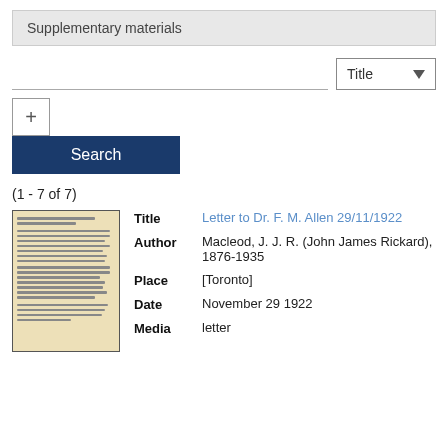Supplementary materials
[Figure (screenshot): Search interface with a text input field, a 'Title' dropdown selector, a '+' button, and a 'Search' button.]
(1 - 7 of 7)
[Figure (photo): Thumbnail image of a typewritten letter document with aged/yellowed paper.]
Title	Letter to Dr. F. M. Allen 29/11/1922
Author	Macleod, J. J. R. (John James Rickard), 1876-1935
Place	[Toronto]
Date	November 29 1922
Media	letter